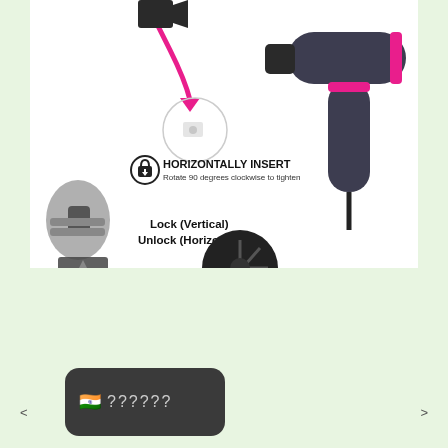[Figure (illustration): Product instruction image showing a hair dryer with attachment instructions: pink arrow indicating horizontal insert, lock icon with text 'HORIZONTALLY INSERT - Rotate 90 degrees clockwise to tighten', and 'Lock (Vertical) / Unlock (Horizontal)' label. Hair dryer shown on right side in dark gray with pink accents.]
[Figure (screenshot): A dark rounded chat bubble or UI element showing an Indian flag emoji followed by six question marks '??????' in gray text on dark background.]